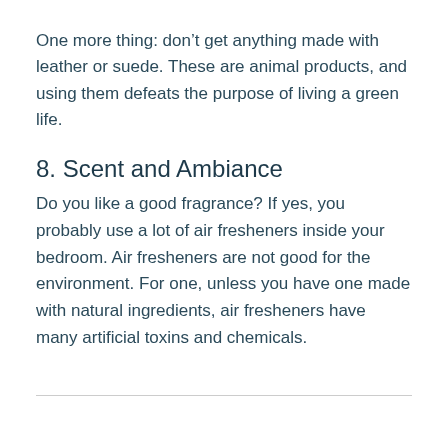One more thing: don't get anything made with leather or suede. These are animal products, and using them defeats the purpose of living a green life.
8. Scent and Ambiance
Do you like a good fragrance? If yes, you probably use a lot of air fresheners inside your bedroom. Air fresheners are not good for the environment. For one, unless you have one made with natural ingredients, air fresheners have many artificial toxins and chemicals.